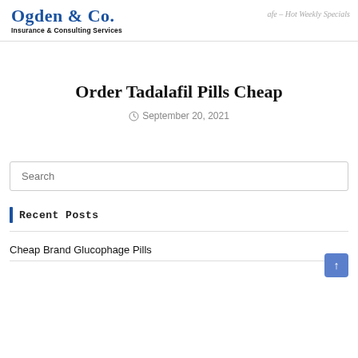Ogden & Co. Insurance & Consulting Services
Order Tadalafil Pills Cheap
September 20, 2021
Recent Posts
Cheap Brand Glucophage Pills